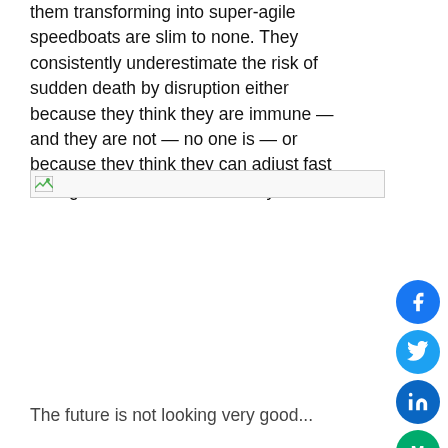them transforming into super-agile speedboats are slim to none. They consistently underestimate the risk of sudden death by disruption either because they think they are immune — and they are not — no one is — or because they think they can adjust fast enough when it hits them — they will not.
[Figure (other): Broken image placeholder with small icon]
[Figure (other): Social sharing buttons: Facebook (blue circle with f), Twitter (light blue circle with bird), LinkedIn (dark blue circle with 'in'), Medium (green circle with 'M'), Email (black circle with envelope)]
The future is not looking very good...